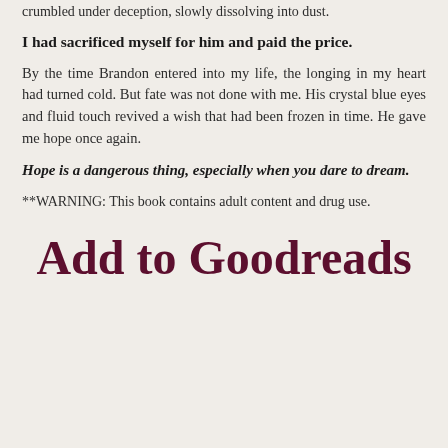crumbled under deception, slowly dissolving into dust.
I had sacrificed myself for him and paid the price.
By the time Brandon entered into my life, the longing in my heart had turned cold. But fate was not done with me. His crystal blue eyes and fluid touch revived a wish that had been frozen in time. He gave me hope once again.
Hope is a dangerous thing, especially when you dare to dream.
**WARNING: This book contains adult content and drug use.
Add to Goodreads